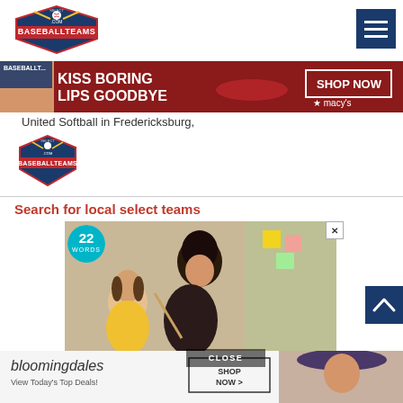[Figure (logo): SelectBaseballTeams.com logo - red/blue baseball shield logo in header]
[Figure (screenshot): Hamburger menu button - dark blue square with three white horizontal lines]
[Figure (photo): Macy's advertisement banner: 'KISS BORING LIPS GOODBYE' with woman's lips and SHOP NOW button]
United Softball in Fredericksburg,
[Figure (logo): SelectBaseballTeams.com logo - circular baseball shield logo, smaller version]
Search for local select teams
[Figure (photo): 22 Words advertisement with mother and daughter cooking together, with CLOSE button overlay]
[Figure (screenshot): Scroll-to-top button - dark blue square with upward chevron arrow]
[Figure (photo): Bloomingdales advertisement: 'bloomingdales View Today's Top Deals! SHOP NOW >' with woman in hat]